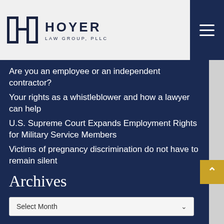HOYER LAW GROUP, PLLC
Are you an employee or an independent contractor?
Your rights as a whistleblower and how a lawyer can help
U.S. Supreme Court Expands Employment Rights for Military Service Members
Victims of pregnancy discrimination do not have to remain silent
Archives
Select Month